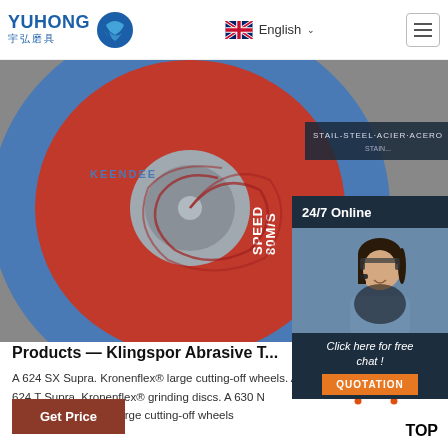YUHONG 宇弘磨具 | English | Navigation
[Figure (photo): Klingspor abrasive cutting wheel product photo — red and blue grinding disc with KEENDEE label, SPEED 80M/S, WARNING text, barcode, and 24/7 Online customer service representative overlay]
Products — Klingspor Abrasive T...
A 624 SX Supra. Kronenflex® large cutting-off wheels. A 624 T Supra. Kronenflex® grinding discs. A 630 N Supra. Kronenflex® large cutting-off wheels
Get Price
Click here for free chat !
QUOTATION